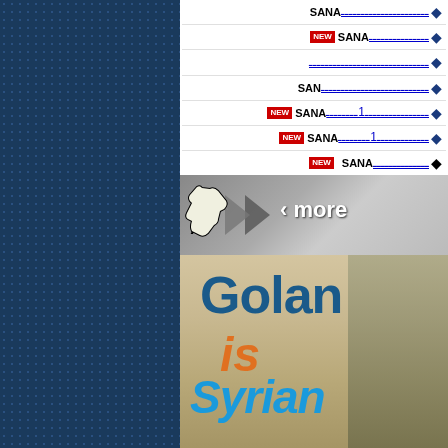◆ [Arabic text] SANA
◆ [Arabic text] SANA NEW
◆ [Arabic text]
◆ [Arabic text] SANA
◆ [Arabic text 1 Arabic text] SANA NEW
◆ [Arabic text 1 Arabic text] SANA NEW
◆ [Arabic text] SANA NEW
[Figure (screenshot): More button banner with hand cursor and chevrons]
[Figure (photo): Golan is Syrian banner with people in background and www.sana.sy URL]